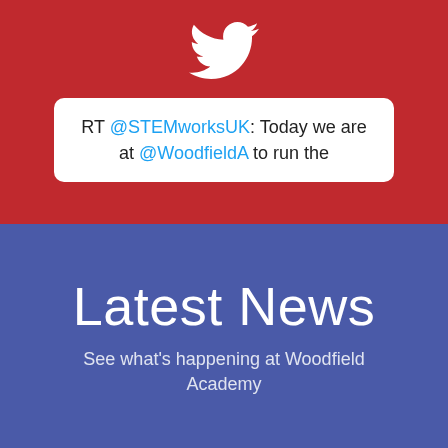[Figure (logo): Twitter bird logo in white on red background]
RT @STEMworksUK: Today we are at @WoodfieldA to run the
Latest News
See what's happening at Woodfield Academy